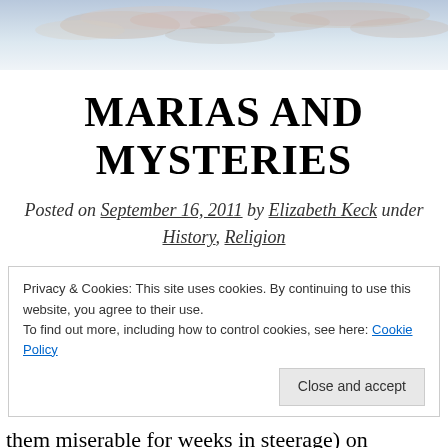[Figure (photo): Sky with clouds, light blue and pink tones, banner header image]
MARIAS AND MYSTERIES
Posted on September 16, 2011 by Elizabeth Keck under History, Religion
Privacy & Cookies: This site uses cookies. By continuing to use this website, you agree to their use.
To find out more, including how to control cookies, see here: Cookie Policy
Close and accept
them miserable for weeks in steerage) on different